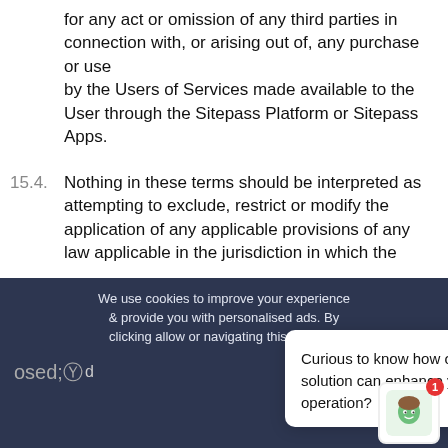for any act or omission of any third parties in connection with, or arising out of, any purchase or use by the Users of Services made available to the User through the Sitepass Platform or Sitepass Apps.
15.4. Nothing in these terms should be interpreted as attempting to exclude, restrict or modify the application of any applicable provisions of any law applicable in the jurisdiction in which the
We use cookies to improve your experience & provide you with personalised ads. By clicking allow or navigating this site, you
Curious to know how our EHS solution can enhance your operation?